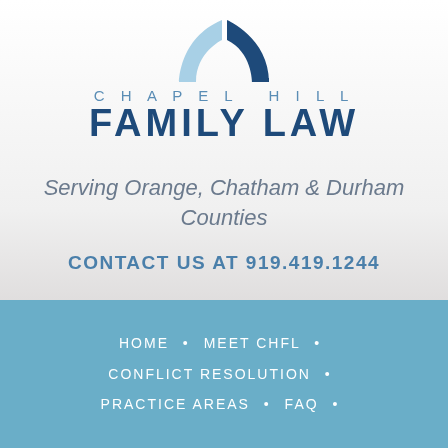[Figure (logo): Chapel Hill Family Law logo with arch graphic above text]
Serving Orange, Chatham & Durham Counties
CONTACT US AT 919.419.1244
HOME • MEET CHFL •
CONFLICT RESOLUTION •
PRACTICE AREAS • FAQ •